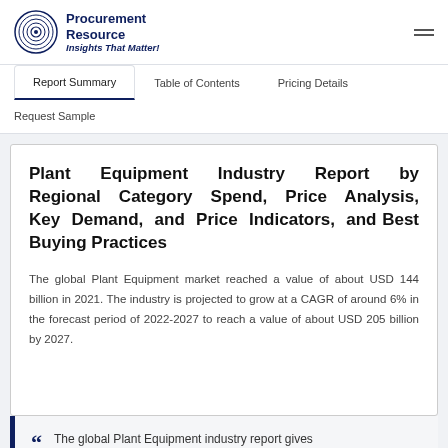Procurement Resource — Insights That Matter!
Report Summary | Table of Contents | Pricing Details | Request Sample
Plant Equipment Industry Report by Regional Category Spend, Price Analysis, Key Demand, and Price Indicators, and Best Buying Practices
The global Plant Equipment market reached a value of about USD 144 billion in 2021. The industry is projected to grow at a CAGR of around 6% in the forecast period of 2022-2027 to reach a value of about USD 205 billion by 2027.
The global Plant Equipment industry report gives